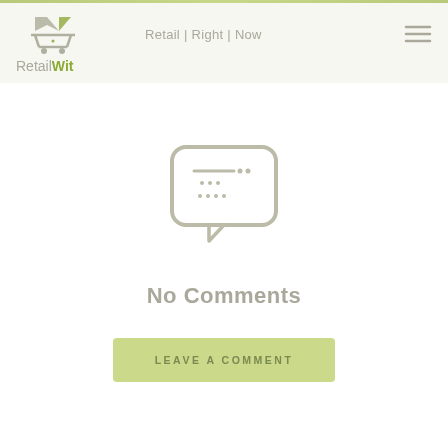[Figure (logo): RetailWit logo with shopping cart icon and text 'RetailWit' in gray/olive colors]
Retail | Right | Now
[Figure (illustration): Gray speech bubble icon with horizontal lines and dots inside representing a comment/chat bubble]
No Comments
LEAVE A COMMENT